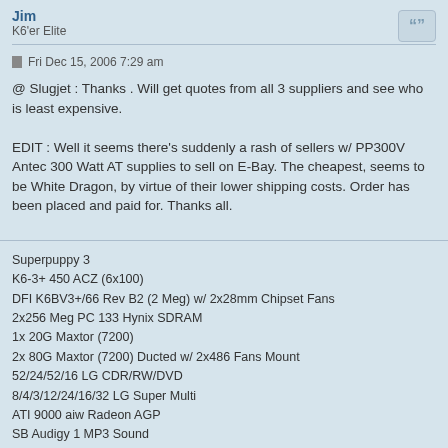Jim
K6'er Elite
Fri Dec 15, 2006 7:29 am
@ Slugjet : Thanks . Will get quotes from all 3 suppliers and see who is least expensive.

EDIT : Well it seems there's suddenly a rash of sellers w/ PP300V Antec 300 Watt AT supplies to sell on E-Bay. The cheapest, seems to be White Dragon, by virtue of their lower shipping costs. Order has been placed and paid for. Thanks all.
Superpuppy 3
K6-3+ 450 ACZ (6x100)
DFI K6BV3+/66 Rev B2 (2 Meg) w/ 2x28mm Chipset Fans
2x256 Meg PC 133 Hynix SDRAM
1x 20G Maxtor (7200)
2x 80G Maxtor (7200) Ducted w/ 2x486 Fans Mount
52/24/52/16 LG CDR/RW/DVD
8/4/3/12/24/16/32 LG Super Multi
ATI 9000 aiw Radeon AGP
SB Audigy 1 MP3 Sound
CMD 649 IDE Controller
NEC USB 2 Card